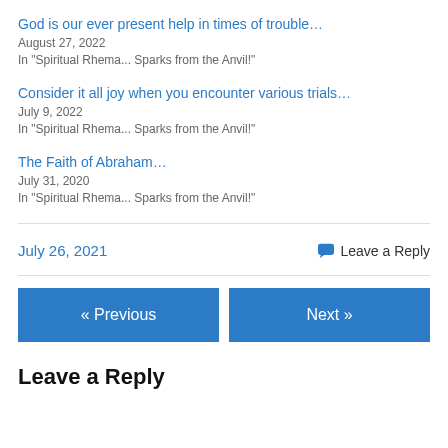God is our ever present help in times of trouble…
August 27, 2022
In "Spiritual Rhema... Sparks from the Anvil!"
Consider it all joy when you encounter various trials…
July 9, 2022
In "Spiritual Rhema... Sparks from the Anvil!"
The Faith of Abraham…
July 31, 2020
In "Spiritual Rhema... Sparks from the Anvil!"
July 26, 2021
Leave a Reply
« Previous
Next »
Leave a Reply